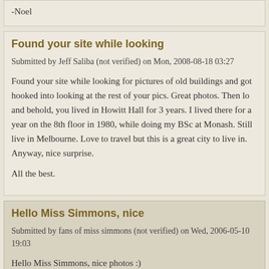-Noel
Found your site while looking
Submitted by Jeff Saliba (not verified) on Mon, 2008-08-18 03:27
Found your site while looking for pictures of old buildings and got hooked into looking at the rest of your pics. Great photos. Then lo and behold, you lived in Howitt Hall for 3 years. I lived there for a year on the 8th floor in 1980, while doing my BSc at Monash. Still live in Melbourne. Love to travel but this is a great city to live in. Anyway, nice surprise.
All the best.
Hello Miss Simmons, nice
Submitted by fans of miss simmons (not verified) on Wed, 2006-05-10 19:03
Hello Miss Simmons, nice photos :)